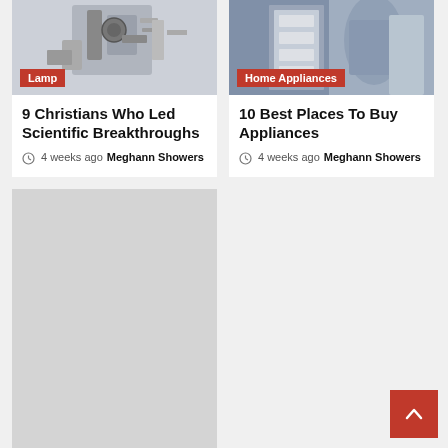[Figure (photo): Scientific equipment / robot machinery image with Lamp badge]
Lamp
9 Christians Who Led Scientific Breakthroughs
4 weeks ago  Meghann Showers
[Figure (photo): Person with home appliances image with Home Appliances badge]
Home Appliances
10 Best Places To Buy Appliances
4 weeks ago  Meghann Showers
[Figure (photo): Gray placeholder image with Lamp badge]
Lamp